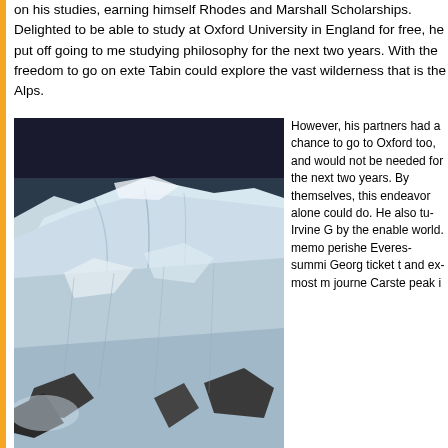on his studies, earning himself Rhodes and Marshall Scholarships. Delighted to be able to study at Oxford University in England for free, he put off going to medical school, studying philosophy for the next two years. With the freedom to go on extended breaks, Tabin could explore the vast wilderness that is the Alps.
[Figure (photo): Aerial or high-altitude black and white photograph of a snow-covered mountain range, showing glaciers, ridgelines, and rocky outcroppings against a dark sky.]
However, his partners had a chance to go to Oxford too, and would not be needed for the next two years. By themselves, this endeavor alone could do. He also turned to the Irvine Grant given by the university to enable travel the world. Named in memory of one who perished on Everest before summiting, George Irvine, a ticket to see great and extraordinary, most marvelous journeys such as Carstensz, a peak in...